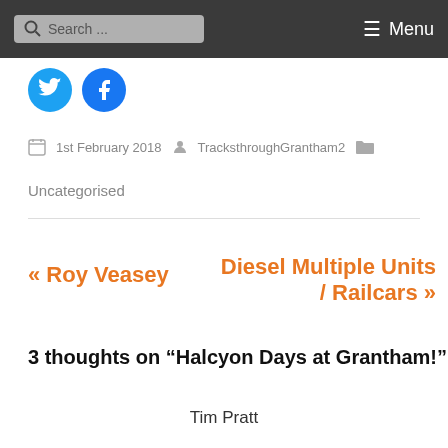Search ... Menu
[Figure (illustration): Two circular social media icons: Twitter (cyan) and Facebook (blue)]
1st February 2018  TracksthroughGrantham2  Uncategorised
« Roy Veasey
Diesel Multiple Units / Railcars »
3 thoughts on "Halcyon Days at Grantham!"
Tim Pratt